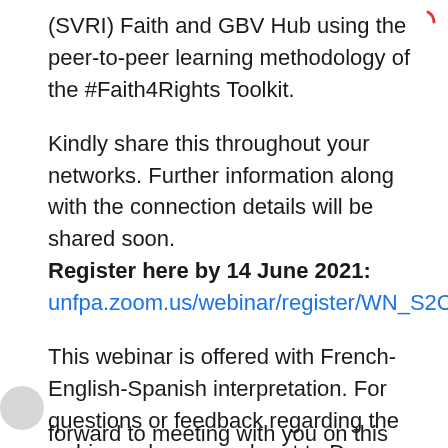(SVRI) Faith and GBV Hub using the peer-to-peer learning methodology of the #Faith4Rights Toolkit.
Kindly share this throughout your networks. Further information along with the connection details will be shared soon. Register here by 14 June 2021: unfpa.zoom.us/webinar/register/WN_S2CSmG2a
This webinar is offered with French-English-Spanish interpretation. For questions or feedback regarding the webinar, please reach out to Dawn Minott (minott@unfpa.org) or Caterina Tino (tino@unfpa.org). We look forward to meeting with you on this event.